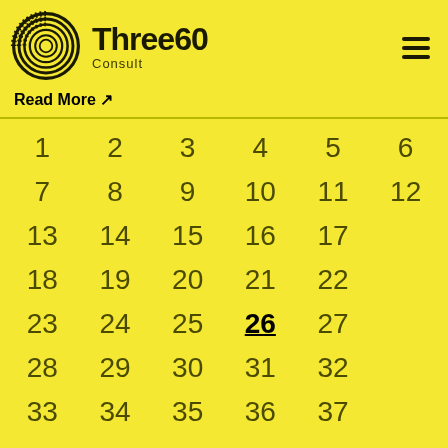[Figure (logo): Three60 Consult logo with circular spiral graphic on yellow background]
Read More ↗
| 1 | 2 | 3 | 4 | 5 | 6 |
| 7 | 8 | 9 | 10 | 11 | 12 |
| 13 | 14 | 15 | 16 | 17 |  |
| 18 | 19 | 20 | 21 | 22 |  |
| 23 | 24 | 25 | 26 | 27 |  |
| 28 | 29 | 30 | 31 | 32 |  |
| 33 | 34 | 35 | 36 | 37 |  |